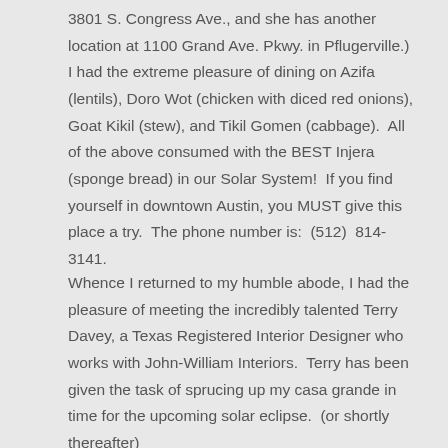3801 S. Congress Ave., and she has another location at 1100 Grand Ave. Pkwy. in Pflugerville.)  I had the extreme pleasure of dining on Azifa (lentils), Doro Wot (chicken with diced red onions), Goat Kikil (stew), and Tikil Gomen (cabbage).  All of the above consumed with the BEST Injera (sponge bread) in our Solar System!  If you find yourself in downtown Austin, you MUST give this place a try.  The phone number is:  (512)  814-3141.
Whence I returned to my humble abode, I had the pleasure of meeting the incredibly talented Terry Davey, a Texas Registered Interior Designer who works with John-William Interiors.  Terry has been given the task of sprucing up my casa grande in time for the upcoming solar eclipse.  (or shortly thereafter)